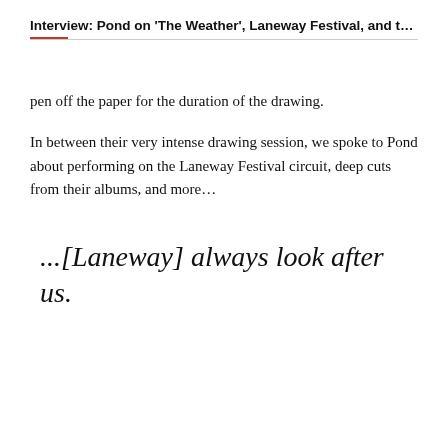Interview: Pond on 'The Weather', Laneway Festival, and thei...
pen off the paper for the duration of the drawing.
In between their very intense drawing session, we spoke to Pond about performing on the Laneway Festival circuit, deep cuts from their albums, and more…
...[Laneway] always look after us.